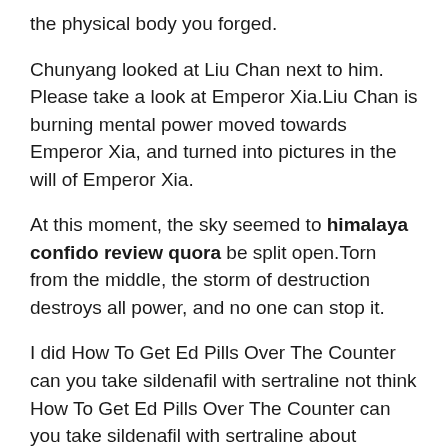the physical body you forged.
Chunyang looked at Liu Chan next to him. Please take a look at Emperor Xia.Liu Chan is burning mental power moved towards Emperor Xia, and turned into pictures in the will of Emperor Xia.
At this moment, the sky seemed to himalaya confido review quora be split open.Torn from the middle, the storm of destruction destroys all power, and no one can stop it.
I did How To Get Ed Pills Over The Counter can you take sildenafil with sertraline not think How To Get Ed Pills Over The Counter can you take sildenafil with sertraline about hurting her. Liu Chan sighed.He looked at Ye Futian and said, Everything I did, I erectile dysfunction natural remedy just wanted to end it all.
Long Mu has indeed made viagras para hombres nombres